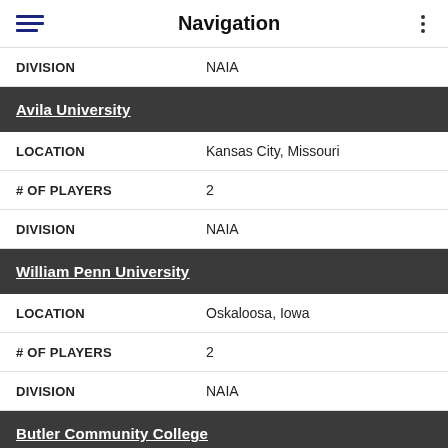Navigation
| Field | Value |
| --- | --- |
| DIVISION | NAIA |
Avila University
| Field | Value |
| --- | --- |
| LOCATION | Kansas City, Missouri |
| # OF PLAYERS | 2 |
| DIVISION | NAIA |
William Penn University
| Field | Value |
| --- | --- |
| LOCATION | Oskaloosa, Iowa |
| # OF PLAYERS | 2 |
| DIVISION | NAIA |
Butler Community College
| Field | Value |
| --- | --- |
| LOCATION | El Dorado, Kansas |